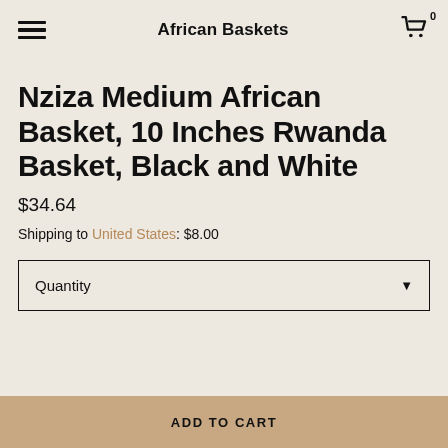African Baskets
Nziza Medium African Basket, 10 Inches Rwanda Basket, Black and White
$34.64
Shipping to United States: $8.00
Quantity
ADD TO CART